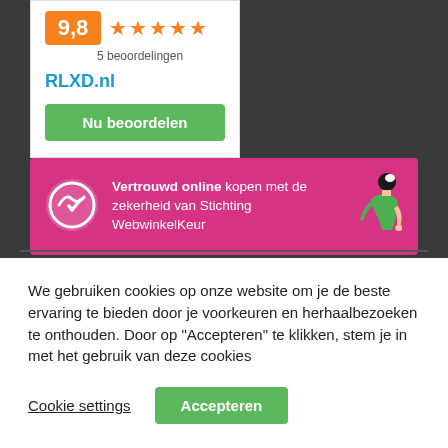[Figure (screenshot): Rating card with orange 9,8 badge, 5 orange stars, '5 beoordelingen' text, RLXD.nl link, and green 'Nu beoordelen' button on dark background]
[Figure (screenshot): Pink WebwinkelKeur banner with logo, text 'Vertrouwd online kopen met de zekerheid van Stichting WebwinkelKeur', and illustration of woman]
We gebruiken cookies op onze website om je de beste ervaring te bieden door je voorkeuren en herhaalbezoeken te onthouden. Door op "Accepteren" te klikken, stem je in met het gebruik van deze cookies
Cookie settings
Accepteren